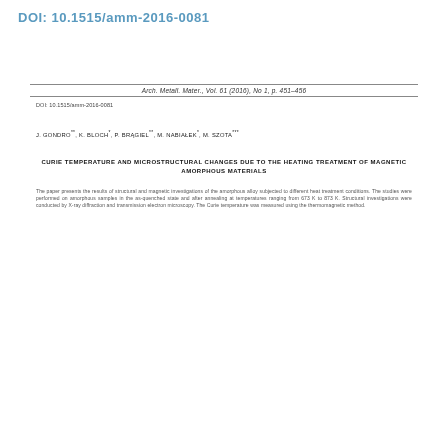DOI: 10.1515/amm-2016-0081
Arch. Metall. Mater., Vol. 61 (2016), No 1, p. 451–456
DOI: 10.1515/amm-2016-0081
J. GONDRO**, K. BLOCH*, P. BRĄGIEL**, M. NABIAŁEK*, M. SZOTA***
CURIE TEMPERATURE AND MICROSTRUCTURAL CHANGES DUE TO THE HEATING TREATMENT OF MAGNETIC AMORPHOUS MATERIALS
The paper presents the results of structural and magnetic investigations of amorphous alloy subjected to different heat treatment conditions.